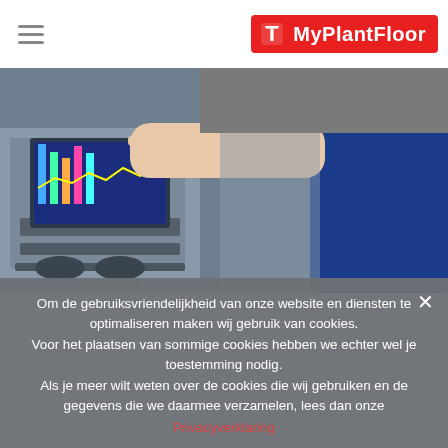MyPlantFloor
[Figure (photo): A man in a blue t-shirt pointing at an industrial machine touchscreen monitor in a factory/manufacturing setting]
Om de gebruiksvriendelijkheid van onze website en diensten te optimaliseren maken wij gebruik van cookies. Voor het plaatsen van sommige cookies hebben we echter wel je toestemming nodig. Als je meer wilt weten over de cookies die wij gebruiken en de gegevens die we daarmee verzamelen, lees dan onze
Privacyverklaring
OK